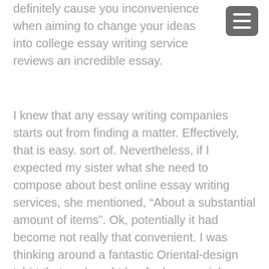definitely cause you inconvenience when aiming to change your ideas into college essay writing service reviews an incredible essay.
I knew that any essay writing companies starts out from finding a matter. Effectively, that is easy. sort of. Nevertheless, if I expected my sister what she need to compose about best online essay writing services, she mentioned, “About a substantial amount of items”. Ok, potentially it had become not really that convenient. I was thinking around a fantastic Oriental-design tshirt that we bought her for her special birthday. My sibling was genuinely into Asian customs. “Hello”, I mentioned, “think about ft . essay writing company reviews binding?” She appeared at me and says, “Looking at to corsets, as an example!” It was the start of our essay cardstock.